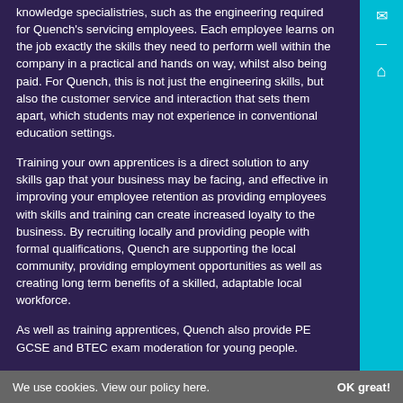knowledge specialistries, such as the engineering required for Quench's servicing employees. Each employee learns on the job exactly the skills they need to perform well within the company in a practical and hands on way, whilst also being paid. For Quench, this is not just the engineering skills, but also the customer service and interaction that sets them apart, which students may not experience in conventional education settings.
Training your own apprentices is a direct solution to any skills gap that your business may be facing, and effective in improving your employee retention as providing employees with skills and training can create increased loyalty to the business. By recruiting locally and providing people with formal qualifications, Quench are supporting the local community, providing employment opportunities as well as creating long term benefits of a skilled, adaptable local workforce.
As well as training apprentices, Quench also provide PE GCSE and BTEC exam moderation for young people.
We use cookies. View our policy here.    OK great!